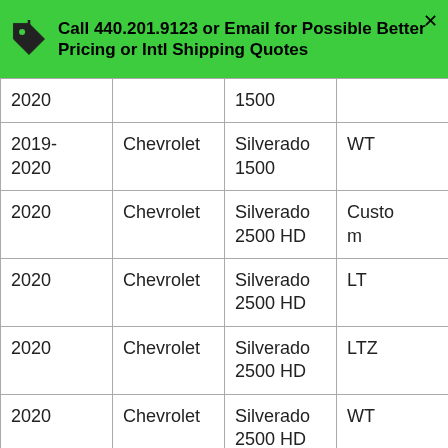[Figure (infographic): Green banner with price tag icon and bold black text: 'Call 440.201.9123 or Email for Possible Better Pricing or Intl Shipping Quotes', with an X close button on the right.]
| 2020 |  | 1500 |  |
| 2019-2020 | Chevrolet | Silverado 1500 | WT |
| 2020 | Chevrolet | Silverado 2500 HD | Custom |
| 2020 | Chevrolet | Silverado 2500 HD | LT |
| 2020 | Chevrolet | Silverado 2500 HD | LTZ |
| 2020 | Chevrolet | Silverado 2500 HD | WT |